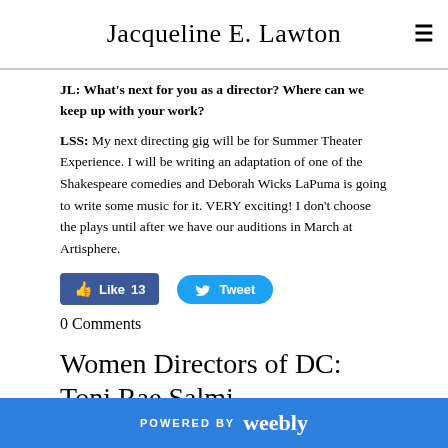Jacqueline E. Lawton
JL: What's next for you as a director? Where can we keep up with your work?
LSS: My next directing gig will be for Summer Theater Experience. I will be writing an adaptation of one of the Shakespeare comedies and Deborah Wicks LaPuma is going to write some music for it. VERY exciting! I don't choose the plays until after we have our auditions in March at Artisphere.
[Figure (other): Facebook Like button showing 13 likes and Twitter Tweet button]
0 Comments
Women Directors of DC: Toni Rae Salmi
POWERED BY weebly